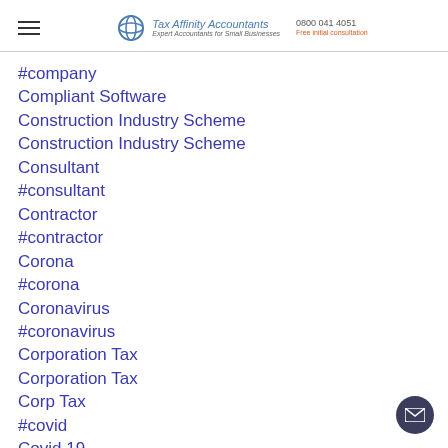Tax Affinity Accountants | 0800 041 4051 | Free initial consultation
#company
Compliant Software
Construction Industry Scheme
Construction Industry Scheme
Consultant
#consultant
Contractor
#contractor
Corona
#corona
Coronavirus
#coronavirus
Corporation Tax
Corporation Tax
Corp Tax
#covid
Covid 19